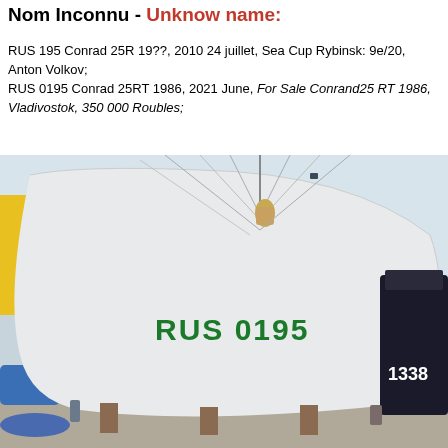Nom Inconnu - Unknow name:
RUS 195 Conrad 25R 19??, 2010 24 juillet, Sea Cup Rybinsk: 9e/20, Anton Volkov;
RUS 0195 Conrad 25RT 1986, 2021 June, For Sale Conrand25 RT 1986, Vladivostok, 350 000 Roubles;
[Figure (photo): Photograph of a white sailboat hull marked 'RUS 0195' in green letters, stored on land in a boatyard. Another dark-hulled boat numbered 1338 is visible to the right. Yellow and blue objects are visible to the left background.]